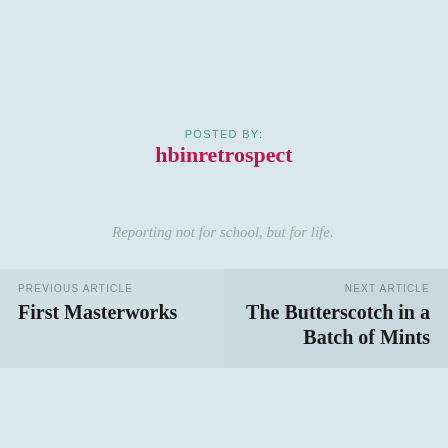POSTED BY:
hbinretrospect
Reporting not for school, but for life.
PREVIOUS ARTICLE
First Masterworks
NEXT ARTICLE
The Butterscotch in a Batch of Mints